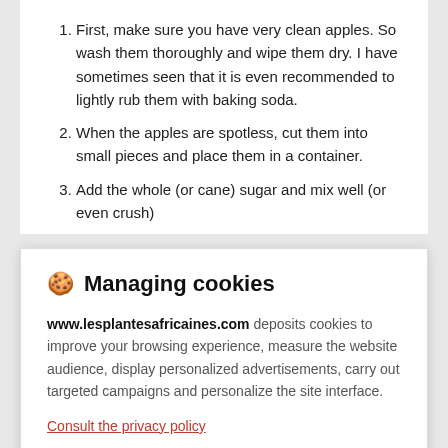First, make sure you have very clean apples. So wash them thoroughly and wipe them dry. I have sometimes seen that it is even recommended to lightly rub them with baking soda.
When the apples are spotless, cut them into small pieces and place them in a container.
Add the whole (or cane) sugar and mix well (or even crush)
🍪 Managing cookies
www.lesplantesafricaines.com deposits cookies to improve your browsing experience, measure the website audience, display personalized advertisements, carry out targeted campaigns and personalize the site interface.
Consult the privacy policy
Refuse | Settings | Accept
every day, then every other day for 10 days.
Finally, let the cider vinegar finish its fermentation quietly